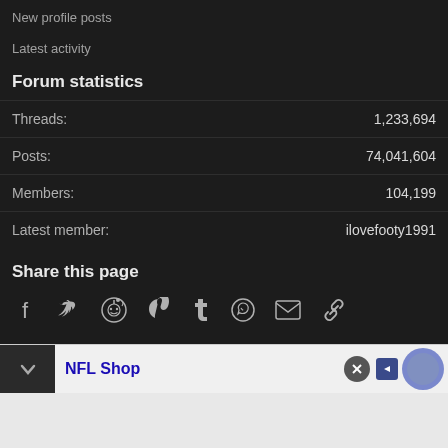New profile posts
Latest activity
Forum statistics
| Label | Value |
| --- | --- |
| Threads: | 1,233,694 |
| Posts: | 74,041,604 |
| Members: | 104,199 |
| Latest member: | ilovefooty1991 |
Share this page
[Figure (infographic): Social share icons: Facebook, Twitter, Reddit, Pinterest, Tumblr, WhatsApp, Email, Link]
NFL Shop